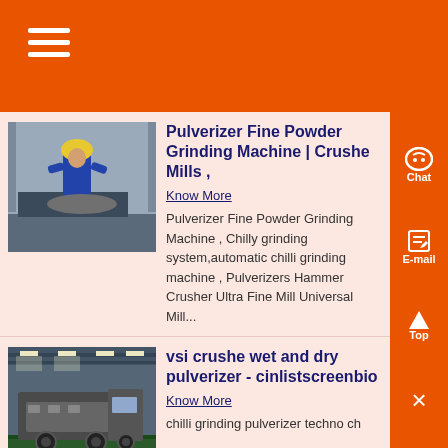Pulverizer Fine Powder Grinding Machine | Crusher Mills ,
Know More
Pulverizer Fine Powder Grinding Machine , Chilly grinding system,automatic chilli grinding machine , Pulverizers Hammer Crusher Ultra Fine Mill Universal Mill...
vsi crushe wet and dry pulverizer - cinlistscreenbio
Know More
chilli grinding pulverizer techno ch